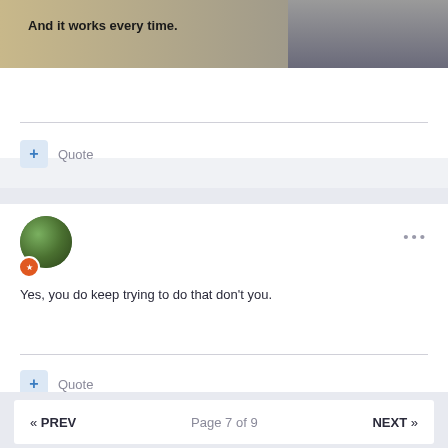[Figure (photo): Partial banner image with bold text 'And it works every time.' on left side and clothing/shirt visible on right side]
+ Quote
Ferret
Posted June 15
Yes, you do keep trying to do that don't you.
+ Quote
« PREV   Page 7 of 9   NEXT »